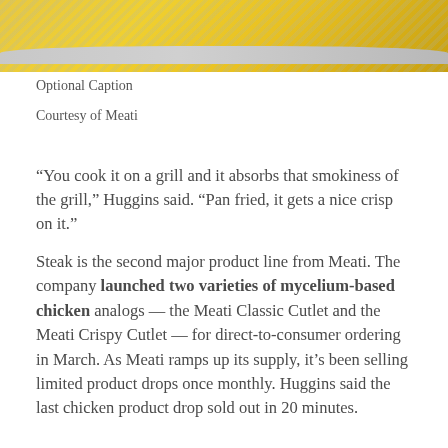[Figure (photo): Partial view of stacked yellow/gold plates on a grey textured cloth, cropped at top of page]
Optional Caption
Courtesy of Meati
“You cook it on a grill and it absorbs that smokiness of the grill,” Huggins said. “Pan fried, it gets a nice crisp on it.”
Steak is the second major product line from Meati. The company launched two varieties of mycelium-based chicken analogs — the Meati Classic Cutlet and the Meati Crispy Cutlet — for direct-to-consumer ordering in March. As Meati ramps up its supply, it’s been selling limited product drops once monthly. Huggins said the last chicken product drop sold out in 20 minutes.